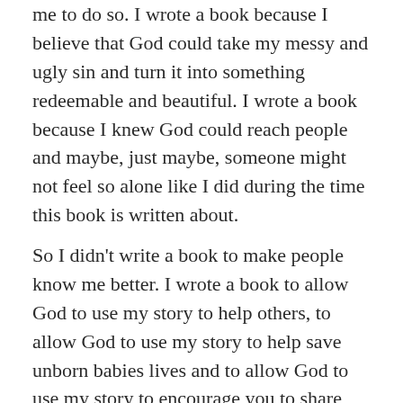me to do so. I wrote a book because I believe that God could take my messy and ugly sin and turn it into something redeemable and beautiful. I wrote a book because I knew God could reach people and maybe, just maybe, someone might not feel so alone like I did during the time this book is written about.
So I didn't write a book to make people know me better. I wrote a book to allow God to use my story to help others, to allow God to use my story to help save unborn babies lives and to allow God to use my story to encourage you to share your story. I wanted to allow God to use my story to remind you that you can be redeemed and you